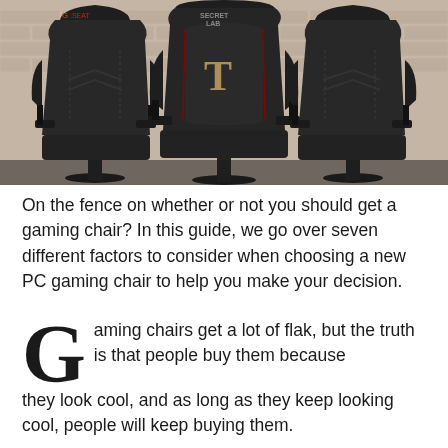[Figure (photo): Three black gaming chairs displayed side by side against a brick wall background. The center chair features a gold 'T' logo and is branded 'Secret Lab'. The left chair has a 'G:Seat' logo. The chairs are racing-style gaming chairs with high backs and armrests.]
On the fence on whether or not you should get a gaming chair? In this guide, we go over seven different factors to consider when choosing a new PC gaming chair to help you make your decision.
Gaming chairs get a lot of flak, but the truth is that people buy them because they look cool, and as long as they keep looking cool, people will keep buying them.